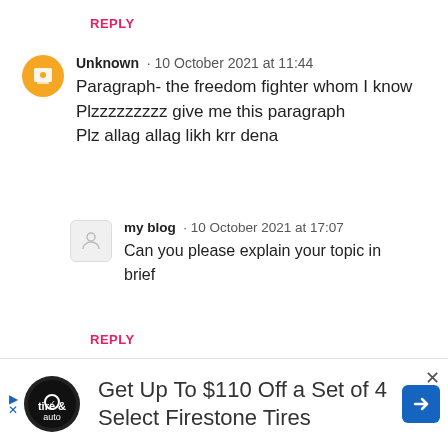REPLY
Unknown · 10 October 2021 at 11:44
Paragraph- the freedom fighter whom I know
Plzzzzzzzzz give me this paragraph
Plz allag allag likh krr dena
my blog · 10 October 2021 at 17:07
Can you please explain your topic in brief
REPLY
Anonymous · 12 October 2021 at 19:43
Can u please do an ending paragraph for this
Get Up To $110 Off a Set of 4 Select Firestone Tires